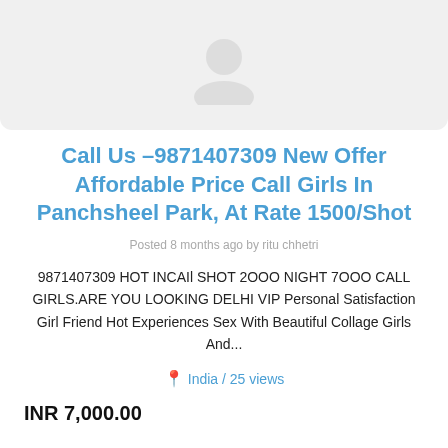[Figure (photo): Placeholder image area with grey background and image icon]
Call Us –9871407309 New Offer Affordable Price Call Girls In Panchsheel Park, At Rate 1500/Shot
Posted 8 months ago by ritu chhetri
9871407309 HOT INCAIl SHOT 2OOO NIGHT 7OOO CALL GIRLS.ARE YOU LOOKING DELHI VIP Personal Satisfaction Girl Friend Hot Experiences Sex With Beautiful Collage Girls And...
India / 25 views
INR 7,000.00